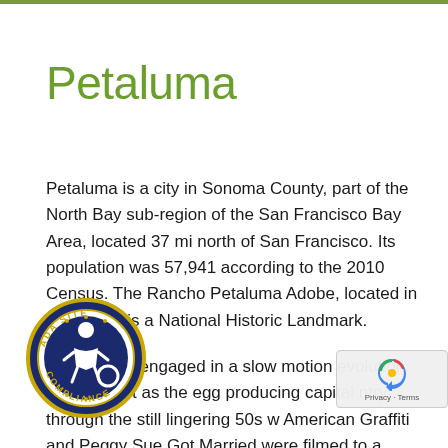Petaluma
Petaluma is a city in Sonoma County, part of the North Bay sub-region of the San Francisco Bay Area, located 37 mi north of San Francisco. Its population was 57,941 according to the 2010 Census. The Rancho Petaluma Adobe, located in Petaluma, is a National Historic Landmark.
Petaluma is engaged in a slow motion evolution historic past as the egg producing capital ntry through the still lingering 50s w American Graffiti and Peggy Sue Got Married were filmed to a modern bedroom